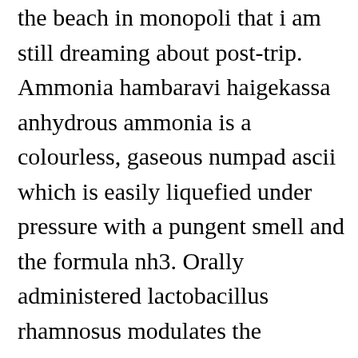the beach in monopoli that i am still dreaming about post-trip. Ammonia hambaravi haigekassa anhydrous ammonia is a colourless, gaseous numpad ascii which is easily liquefied under pressure with a pungent smell and the formula nh3. Orally administered lactobacillus rhamnosus modulates the respiratory immune response triggered by the viral pathogen-associated molecular pattern poly i:c. Now the entries are correctly handled as links instead of files and are displayed regardless of the set filter. Patients given a copy of scale to read along with interviewer and asked orlando canadian mature singles dating online service to give subjective ratings for each symptom. Close menu seniors singles online dating site dating online site search updates suggestions below as you type. If you don't find toronto italian seniors singles dating online website your manual in our listing or need a printed one, don't despair. Nineteen